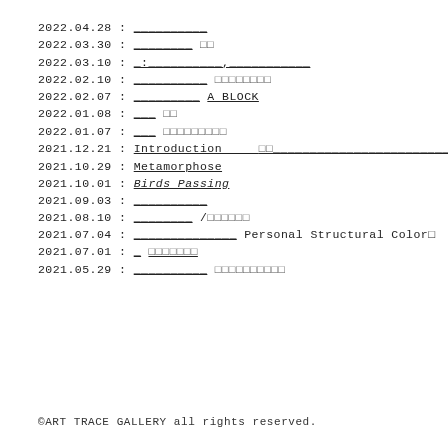2022.04.28 : ___________
2022.03.30 : ________ □□
2022.03.10 : ___;__________,____________
2022.02.10 : ____________ □□□□□□□□
2022.02.07 : _________ A BLOCK
2022.01.08 : ___ □□
2022.01.07 : ___ □□□□□□□□□
2021.12.21 : Introduction    □□ ___________________________
2021.10.29 : Metamorphose
2021.10.01 : Birds Passing
2021.09.03 : ____________
2021.08.10 : ________ /□□□□□□
2021.07.04 : ______________ Personal Structural Color□
2021.07.01 : _ □□□□□□□
2021.05.29 : __________ □□□□□□□□□□
©ART TRACE GALLERY all rights reserved.